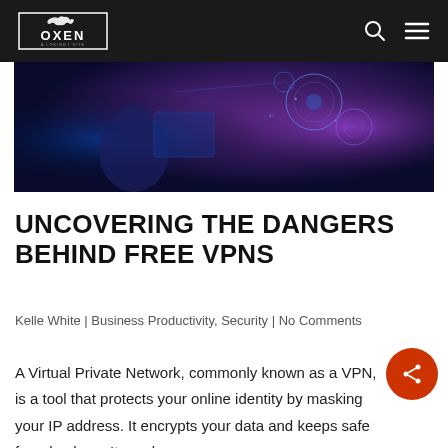OXEN — navigation bar with logo, search icon, and menu icon
[Figure (photo): Dark tech/cyberpunk hero image with glowing blue and purple hues, showing a person working with holographic digital interface elements, circles and geometric patterns overlaid]
UNCOVERING THE DANGERS BEHIND FREE VPNS
Kelle White | Business Productivity, Security | No Comments
A Virtual Private Network, commonly known as a VPN, is a tool that protects your online identity by masking your IP address. It encrypts your data and keeps safe from hackers. It sends your